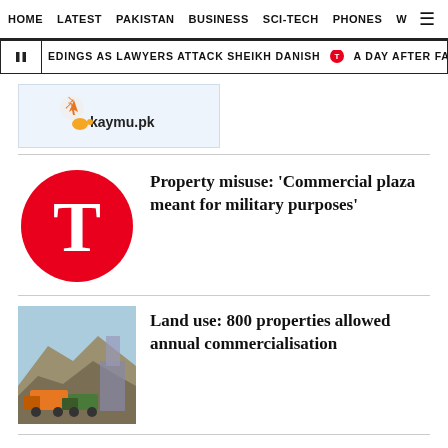HOME   LATEST   PAKISTAN   BUSINESS   SCI-TECH   PHONES   W ☰
EDINGS AS LAWYERS ATTACK SHEIKH DANISH   •   A DAY AFTER FAISALABAD INCIDEN
[Figure (logo): kaymu.pk advertisement logo]
Property misuse: 'Commercial plaza meant for military purposes'
Land use: 800 properties allowed annual commercialisation
LATEST